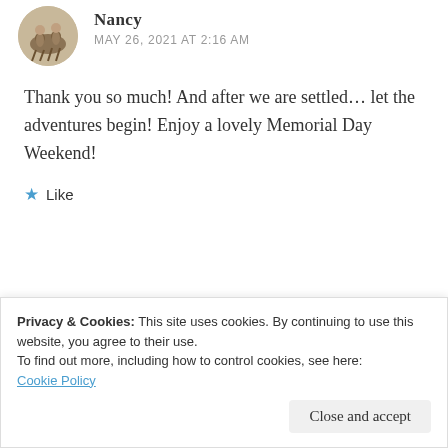[Figure (illustration): Circular avatar image showing a vintage-style illustration of two figures on horseback]
Nancy
MAY 26, 2021 AT 2:16 AM
Thank you so much! And after we are settled... let the adventures begin! Enjoy a lovely Memorial Day Weekend!
Like
[Figure (photo): Circular avatar photo of a woman with dark hair]
indianeskitchen
MAY 25, 2021 AT 9:25 PM
Privacy & Cookies: This site uses cookies. By continuing to use this website, you agree to their use.
To find out more, including how to control cookies, see here: Cookie Policy
Close and accept